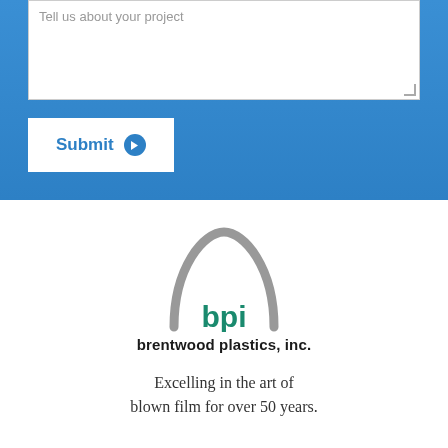Tell us about your project
Submit
[Figure (logo): BPI (Brentwood Plastics, Inc.) logo featuring a grey arch shape above the teal text 'bpi']
brentwood plastics, inc.
Excelling in the art of blown film for over 50 years.